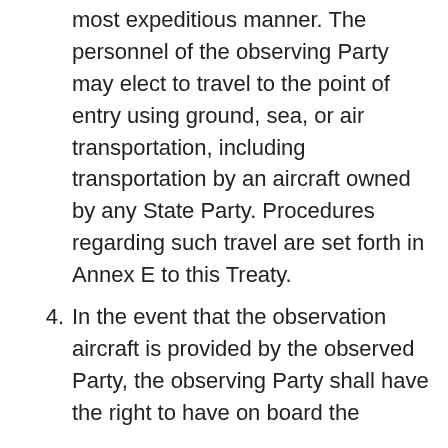most expeditious manner. The personnel of the observing Party may elect to travel to the point of entry using ground, sea, or air transportation, including transportation by an aircraft owned by any State Party. Procedures regarding such travel are set forth in Annex E to this Treaty.
4. In the event that the observation aircraft is provided by the observed Party, the observing Party shall have the right to have on board the